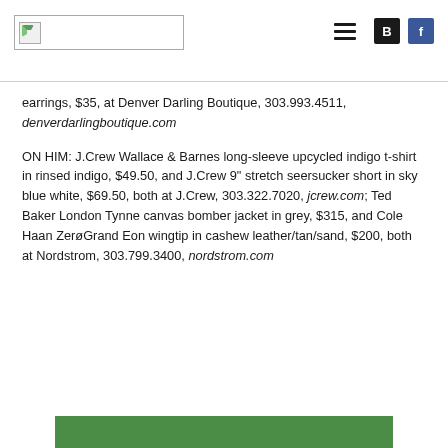[Logo] [Menu icon] [B icon] [f icon]
earrings, $35, at Denver Darling Boutique, 303.993.4511, denverdarlingboutique.com
ON HIM: J.Crew Wallace & Barnes long-sleeve upcycled indigo t-shirt in rinsed indigo, $49.50, and J.Crew 9" stretch seersucker short in sky blue white, $69.50, both at J.Crew, 303.322.7020, jcrew.com; Ted Baker London Tynne canvas bomber jacket in grey, $315, and Cole Haan ZerøGrand Eon wingtip in cashew leather/tan/sand, $200, both at Nordstrom, 303.799.3400, nordstrom.com
[Figure (other): Green background image (partial, cropped at bottom of page)]